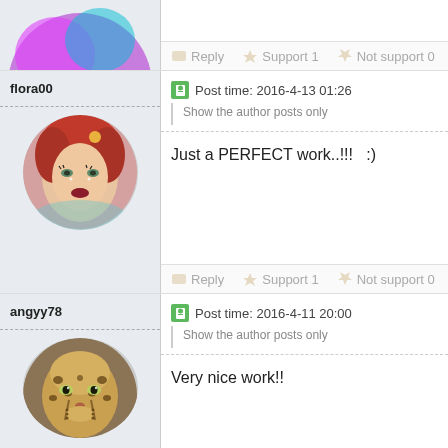[Figure (photo): Partial top of a comment row showing cropped circular avatar image (colorful illustrated character, purple/pink tones) for a previous user]
Reply  Support 1  Not support 0
flora00
Post time: 2016-4-13 01:26
Show the author posts only
[Figure (photo): Circular avatar photo of a woman with red hair and fantasy mermaid makeup]
Just a PERFECT work..!!!   :)
Reply  Support 1  Not support 0
angyy78
Post time: 2016-4-11 20:00
Show the author posts only
[Figure (photo): Circular avatar photo of a cheetah/leopard face, partially cropped at bottom]
Very nice work!!